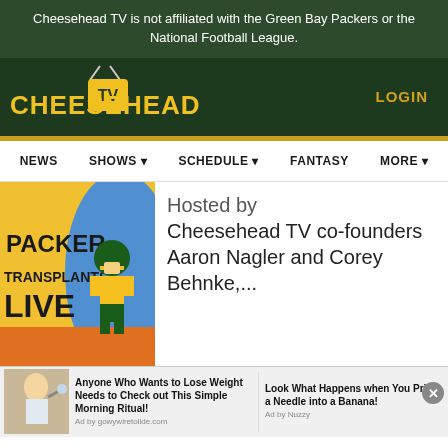Cheesehead TV is not affiliated with the Green Bay Packers or the National Football League.
[Figure (logo): Cheesehead TV logo with yellow text and TV icon]
LOGIN
NEWS  SHOWS  SCHEDULE  FANTASY  MORE
[Figure (illustration): Packer Transplants Live show art with mascot character]
Hosted by Cheesehead TV co-founders Aaron Nagler and Corey Behnke,...
[Figure (illustration): Carry The G show thumbnail with orange/gold background]
Aaron and Corey
[Figure (photo): Ad: woman drinking water]
Anyone Who Wants to Lose Weight Needs to Check out This Simple Morning Ritual!
Ad by gowywiretolide.com
Look What Happens when You Prick a Needle into a Banana!
Ad by Nuzzy